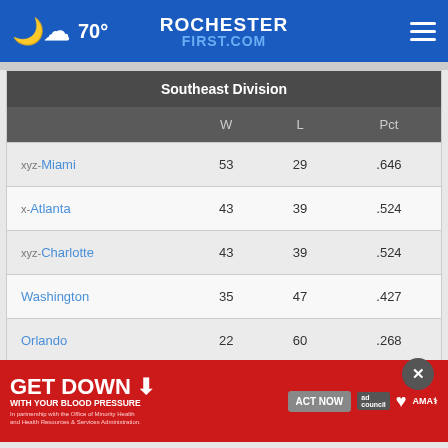70° ROCHESTERFIRST.COM
Southeast Division
|  | W | L | Pct |
| --- | --- | --- | --- |
| xyz-Miami | 53 | 29 | .646 |
| x-Atlanta | 43 | 39 | .524 |
| xyz-Charlotte | 43 | 39 | .524 |
| Washington | 35 | 47 | .427 |
| Orlando | 22 | 60 | .268 |
Western Conference
[Figure (infographic): GET DOWN WITH YOUR BLOOD PRESSURE advertisement banner with ACT NOW button, ad council logo, American Heart Association logo, and AMA logo]